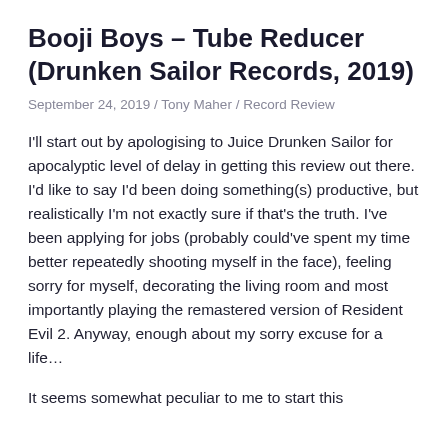Booji Boys – Tube Reducer (Drunken Sailor Records, 2019)
September 24, 2019 / Tony Maher / Record Review
I'll start out by apologising to Juice Drunken Sailor for apocalyptic level of delay in getting this review out there. I'd like to say I'd been doing something(s) productive, but realistically I'm not exactly sure if that's the truth. I've been applying for jobs (probably could've spent my time better repeatedly shooting myself in the face), feeling sorry for myself, decorating the living room and most importantly playing the remastered version of Resident Evil 2. Anyway, enough about my sorry excuse for a life…
It seems somewhat peculiar to me to start this